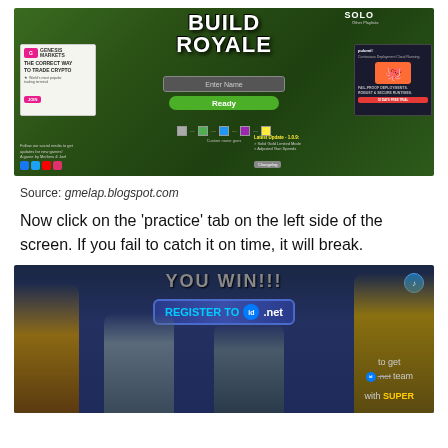[Figure (screenshot): Screenshot of Build Royale browser game showing game title, Enter Name field, Ready button, Genesis Markets crypto ad on left, Pulumi deployment ad on right, social media icons at bottom left, and Latest Update panel at bottom right]
Source: gmelap.blogspot.com
Now click on the 'practice' tab on the left side of the screen. If you fail to catch it on time, it will break.
[Figure (screenshot): Screenshot of a basketball browser game showing YOU WIN!!! text at top, REGISTER TO id.net banner, cartoon basketball player characters, and 'to get id.net team with SUPER' text]